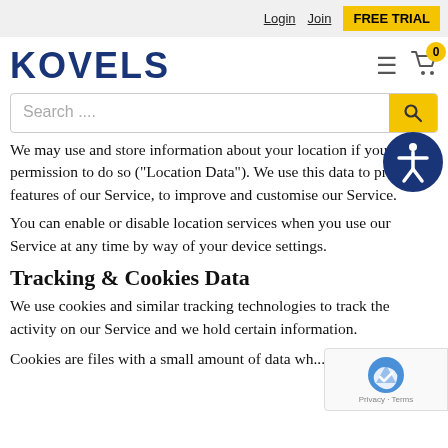Login  Join  FREE TRIAL
KOVELS
Search ....
We may use and store information about your location if you give us permission to do so ("Location Data"). We use this data to provide features of our Service, to improve and customise our Service.
You can enable or disable location services when you use our Service at any time by way of your device settings.
Tracking & Cookies Data
We use cookies and similar tracking technologies to track the activity on our Service and we hold certain information.
Cookies are files with a small amount of data wh...